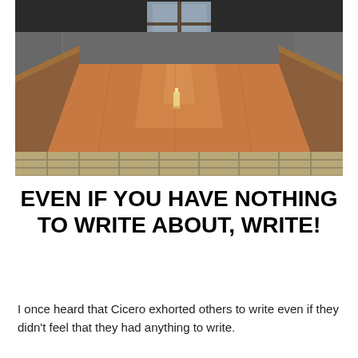[Figure (photo): Interior photo of a long wooden dining table with bench seating on both sides, set in a rustic stone-walled room with a tiled floor. A small candle or bottle is on the table.]
EVEN IF YOU HAVE NOTHING TO WRITE ABOUT, WRITE!
I once heard that Cicero exhorted others to write even if they didn't feel that they had anything to write.